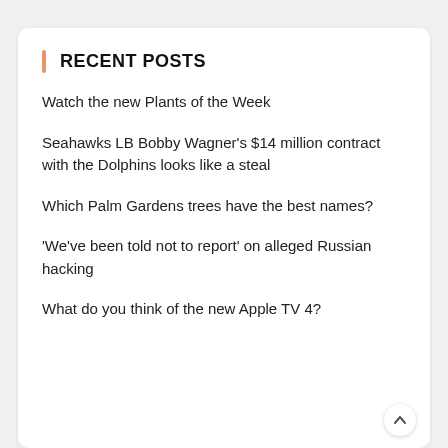RECENT POSTS
Watch the new Plants of the Week
Seahawks LB Bobby Wagner's $14 million contract with the Dolphins looks like a steal
Which Palm Gardens trees have the best names?
'We've been told not to report' on alleged Russian hacking
What do you think of the new Apple TV 4?